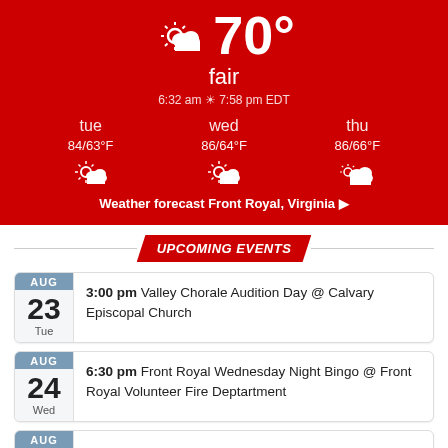[Figure (screenshot): Weather widget showing 70°F fair conditions for Front Royal, Virginia with forecast for tue 84/63°F, wed 86/64°F, thu 86/66°F]
UPCOMING EVENTS
AUG 23 Tue — 3:00 pm Valley Chorale Audition Day @ Calvary Episcopal Church
AUG 24 Wed — 6:30 pm Front Royal Wednesday Night Bingo @ Front Royal Volunteer Fire Deptartment